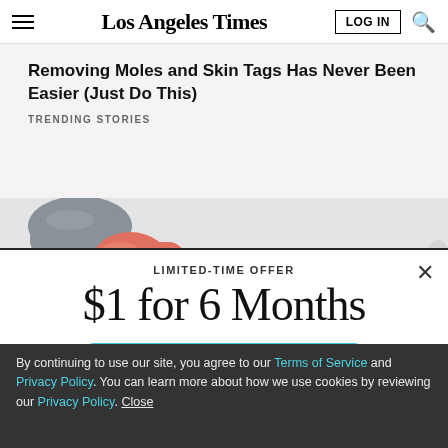Los Angeles Times
Removing Moles and Skin Tags Has Never Been Easier (Just Do This)
TRENDING STORIES
[Figure (illustration): Partial illustration showing a cartoon figure with pink/orange tones, partially visible at left edge]
LIMITED-TIME OFFER
$1 for 6 Months
SUBSCRIBE NOW
By continuing to use our site, you agree to our Terms of Service and Privacy Policy. You can learn more about how we use cookies by reviewing our Privacy Policy. Close